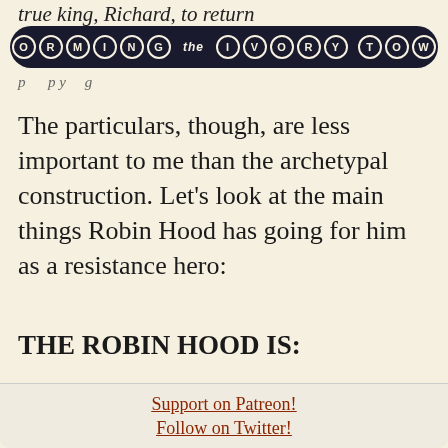true king, Richard, to return
STORMING the IVORY TOWER
p p y g
The particulars, though, are less important to me than the archetypal construction. Let's look at the main things Robin Hood has going for him as a resistance hero:
THE ROBIN HOOD IS:
A single heroically
Support on Patreon!
Follow on Twitter!